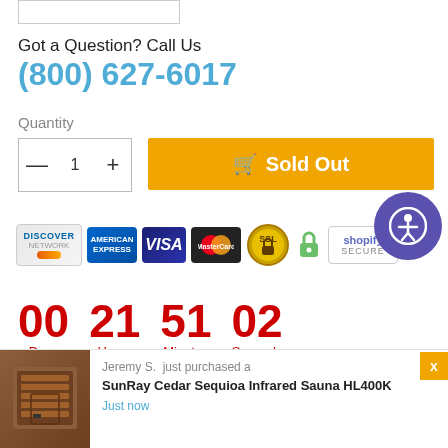Got a Question? Call Us
(800) 627-6017
Quantity
— 1 +
Sold Out
[Figure (infographic): Payment icons: Discover, American Express, Visa, Mastercard, SSL secure badge, lock icon, Shopify Secure badge]
00 Days  21 Hours  51 Minutes  02 Seconds
Jeremy S. just purchased a SunRay Cedar Sequioa Infrared Sauna HL400K — Just now